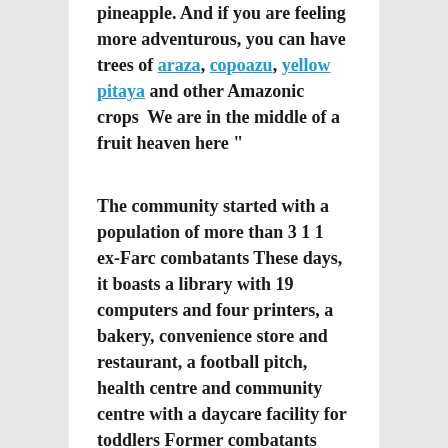pineapple. And if you are feeling more adventurous, you can have trees of araza, copoazu, yellow pitaya and other Amazonic crops  We are in the middle of a fruit heaven here "
The community started with a population of more than 3 1 1  ex-Farc combatants  These days, it boasts a library with 19 computers and four printers, a bakery, convenience store and restaurant, a football pitch, health centre and community centre with a daycare facility for toddlers  Former combatants farm eight hectares of pineapple cash crop and have their own basic processing plant for fruit pulp  They also have six 13m-long fish tanks, a big hen house and dozens of large communal gardens